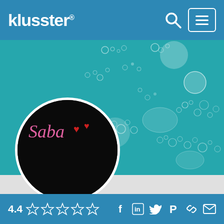[Figure (screenshot): Klusster website header/navbar with logo 'klusster' in white on blue background, search icon, and hamburger menu icon in bordered box]
[Figure (photo): Cover photo background: teal/turquoise water with scattered white bubble/circle patterns]
[Figure (photo): Circular profile photo with black background showing text 'Saba' in pink cursive with red heart icons]
[Figure (screenshot): Footer bar on blue background showing rating '4.4' with 5 star rating icons and social media icons (Facebook, LinkedIn, Twitter, Pinterest, link, email)]